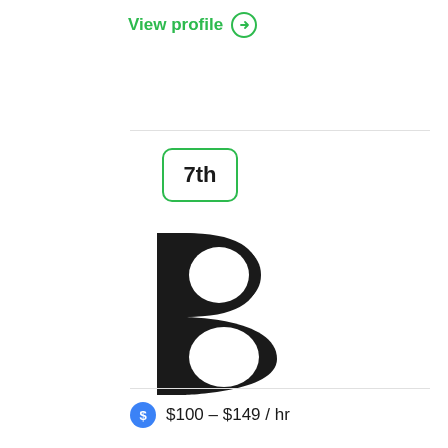View profile →
7th
[Figure (logo): Large stylized letter B logo mark in dark/black color, resembling a B with a flat left vertical stroke and curved right side.]
$100 – $149 / hr